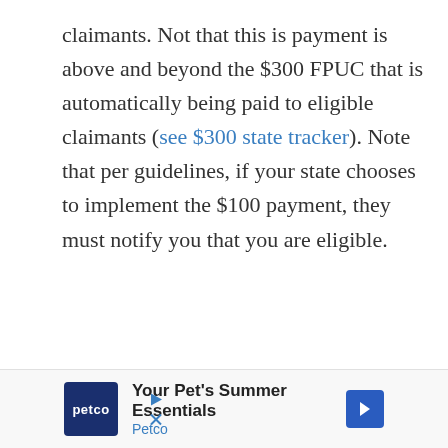claimants. Not that this is payment is above and beyond the $300 FPUC that is automatically being paid to eligible claimants (see $300 state tracker). Note that per guidelines, if your state chooses to implement the $100 payment, they must notify you that you are eligible.
[Figure (other): Petco advertisement banner: 'Your Pet's Summer Essentials' with Petco logo and navigation arrow]